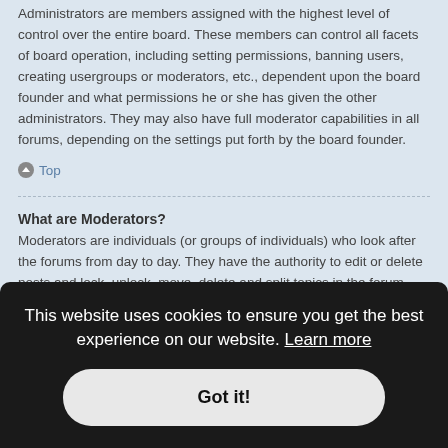Administrators are members assigned with the highest level of control over the entire board. These members can control all facets of board operation, including setting permissions, banning users, creating usergroups or moderators, etc., dependent upon the board founder and what permissions he or she has given the other administrators. They may also have full moderator capabilities in all forums, depending on the settings put forth by the board founder.
Top
What are Moderators?
Moderators are individuals (or groups of individuals) who look after the forums from day to day. They have the authority to edit or delete posts and lock, unlock, move, delete and split topics in the forum they moderate. Generally, moderators are present to prevent users from going off-topic or posting abusive or
assigned individual permissions. This provides an easy way for
This website uses cookies to ensure you get the best experience on our website. Learn more
Got it!